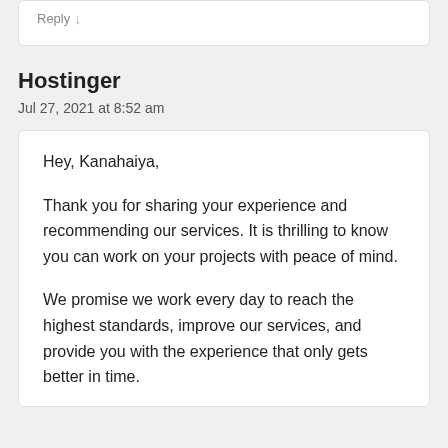Reply ↓
Hostinger
Jul 27, 2021 at 8:52 am
Hey, Kanahaiya,

Thank you for sharing your experience and recommending our services. It is thrilling to know you can work on your projects with peace of mind.

We promise we work every day to reach the highest standards, improve our services, and provide you with the experience that only gets better in time.